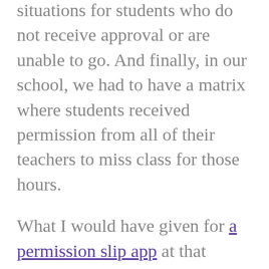situations for students who do not receive approval or are unable to go. And finally, in our school, we had to have a matrix where students received permission from all of their teachers to miss class for those hours.
What I would have given for a permission slip app at that moment.
Instead, students had to take the permission slip around to eight different people to gather signatures and remember to